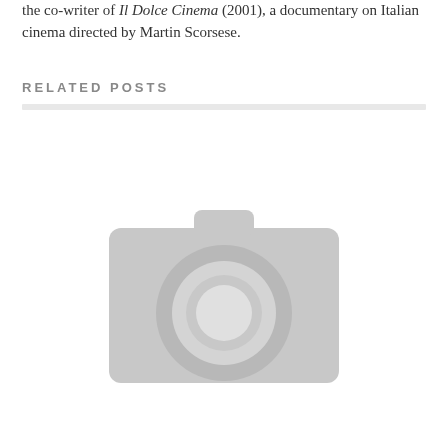the co-writer of Il Dolce Cinema (2001), a documentary on Italian cinema directed by Martin Scorsese.
RELATED POSTS
[Figure (illustration): A grey placeholder camera icon indicating a missing or unloaded image thumbnail]